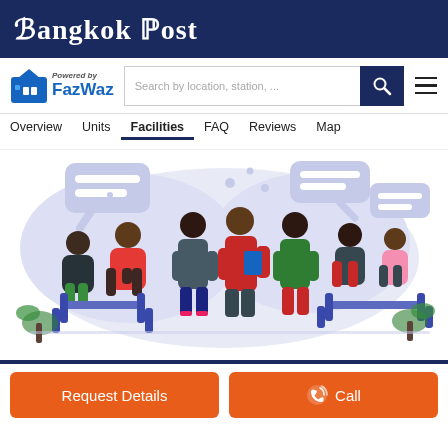Bangkok Post
[Figure (logo): FazWaz logo with house icon and 'Powered by FazWaz' text in blue]
Search by location, station, ...
Overview   Units   Facilities   FAQ   Reviews   Map
[Figure (illustration): Flat vector illustration of a group of people having a discussion/conversation, with speech bubbles, seated and standing, in various colored outfits on a light lavender background]
Request Details
Call